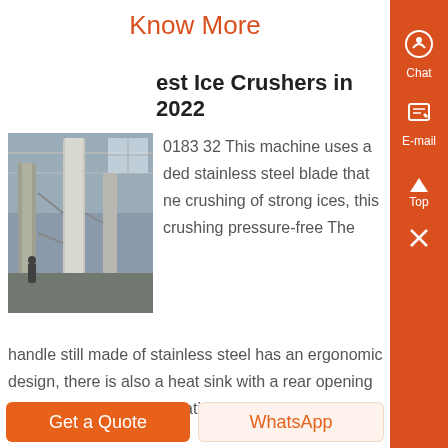Know More
est Ice Crushers in 2022
[Figure (photo): Industrial facility interior with large cylindrical machinery, pipes, and metal structures inside a warehouse-like building.]
0183 32 This machine uses a ded stainless steel blade that ne crushing of strong ices, this crushing pressure-free The handle still made of stainless steel has an ergonomic design, there is also a heat sink with a rear opening to secure the stable operation and it prolongs the life of the ice crusher...
Know More
Get a Quote
WhatsApp